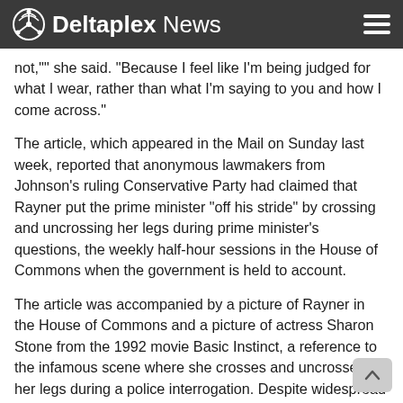Deltaplex News
not,"' she said. "Because I feel like I'm being judged for what I wear, rather than what I'm saying to you and how I come across."
The article, which appeared in the Mail on Sunday last week, reported that anonymous lawmakers from Johnson's ruling Conservative Party had claimed that Rayner put the prime minister "off his stride" by crossing and uncrossing her legs during prime minister's questions, the weekly half-hour sessions in the House of Commons when the government is held to account.
The article was accompanied by a picture of Rayner in the House of Commons and a picture of actress Sharon Stone from the 1992 movie Basic Instinct, a reference to the infamous scene where she crosses and uncrosses her legs during a police interrogation. Despite widespread criticism, the original article on the newspaper's Twitter account has not been deleted.